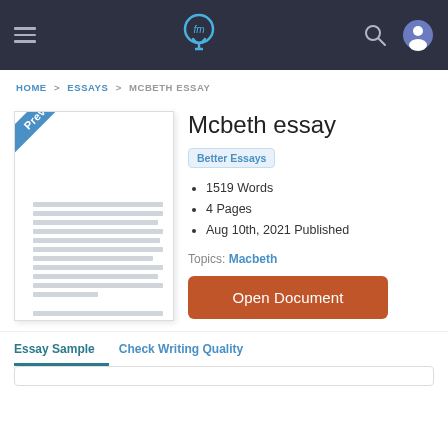[Figure (screenshot): Navigation bar with hamburger menu, StudyMode lightbulb logo, search icon, and user profile icon on dark background]
HOME > ESSAYS > MCBETH ESSAY
Mcbeth essay
Better Essays
1519 Words
4 Pages
Aug 10th, 2021 Published
Topics: Macbeth
Open Document
Essay Sample   Check Writing Quality